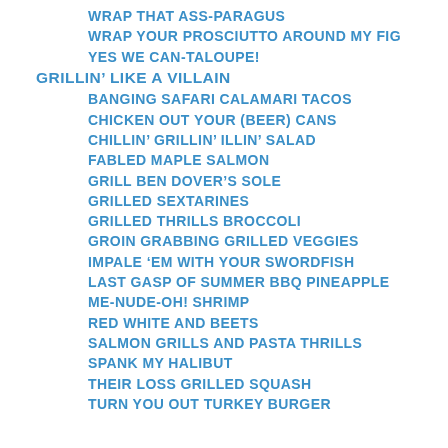WRAP THAT ASS-PARAGUS
WRAP YOUR PROSCIUTTO AROUND MY FIG
YES WE CAN-TALOUPE!
GRILLIN' LIKE A VILLAIN
BANGING SAFARI CALAMARI TACOS
CHICKEN OUT YOUR (BEER) CANS
CHILLIN' GRILLIN' ILLIN' SALAD
FABLED MAPLE SALMON
GRILL BEN DOVER'S SOLE
GRILLED SEXTARINES
GRILLED THRILLS BROCCOLI
GROIN GRABBING GRILLED VEGGIES
IMPALE 'EM WITH YOUR SWORDFISH
LAST GASP OF SUMMER BBQ PINEAPPLE
ME-NUDE-OH! SHRIMP
RED WHITE AND BEETS
SALMON GRILLS AND PASTA THRILLS
SPANK MY HALIBUT
THEIR LOSS GRILLED SQUASH
TURN YOU OUT TURKEY BURGER